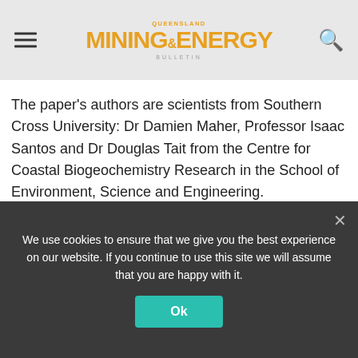QUEENSLAND MINING & ENERGY BULLETIN
The paper's authors are scientists from Southern Cross University: Dr Damien Maher, Professor Isaac Santos and Dr Douglas Tait from the Centre for Coastal Biogeochemistry Research in the School of Environment, Science and Engineering.
The researchers used novel instrumentation to map atmospheric methane and carbon dioxide concentrations in and around coal seam gas fields in the Darling Downs and northern New South Wales.
We use cookies to ensure that we give you the best experience on our website. If you continue to use this site we will assume that you are happy with it.